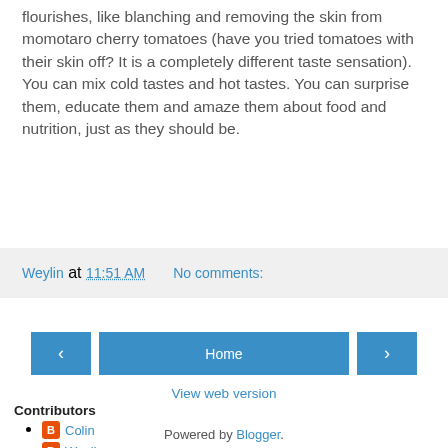flourishes, like blanching and removing the skin from momotaro cherry tomatoes (have you tried tomatoes with their skin off? It is a completely different taste sensation). You can mix cold tastes and hot tastes. You can surprise them, educate them and amaze them about food and nutrition, just as they should be.
Weylin at 11:51 AM    No comments:
‹    Home    ›
View web version
Contributors
Colin
Weylin
Powered by Blogger.